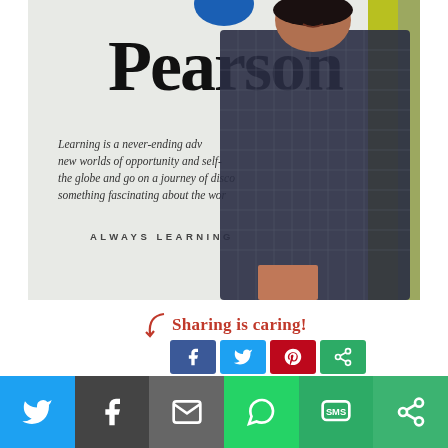[Figure (photo): A woman in a dark checked dress standing and smiling next to a Pearson office wall sign that reads 'Pearson' and includes a quote about learning: 'Learning is a never-ending adv... new worlds of opportunity and self-... the globe and go on a journey of disco... something fascinating about the wor...' and 'ALWAYS LEARNING']
Sharing is caring!
[Figure (infographic): Social sharing buttons row: Facebook (blue), Twitter (light blue), Pinterest (red), Share (green)]
[Figure (infographic): Bottom social share bar with buttons: Twitter (blue), Facebook (dark), Email (grey), WhatsApp (green), SMS (green), More (green)]